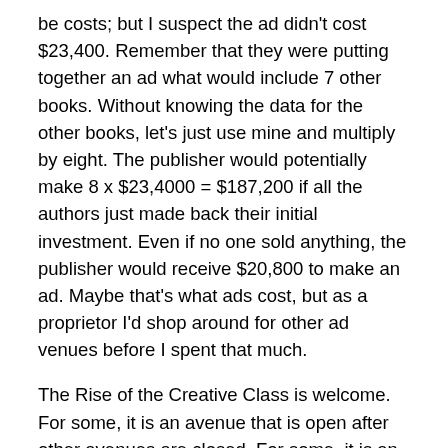be costs; but I suspect the ad didn't cost $23,400. Remember that they were putting together an ad what would include 7 other books. Without knowing the data for the other books, let's just use mine and multiply by eight. The publisher would potentially make 8 x $23,4000 = $187,200 if all the authors just made back their initial investment. Even if no one sold anything, the publisher would receive $20,800 to make an ad. Maybe that's what ads cost, but as a proprietor I'd shop around for other ad venues before I spent that much.
The Rise of the Creative Class is welcome. For some, it is an avenue that is open after other avenues are closed. For some, it is an avenue they've waited their lives for. The Rise has also inspired another Rise, that of the support industry, some of which is supportive of the artist, some of